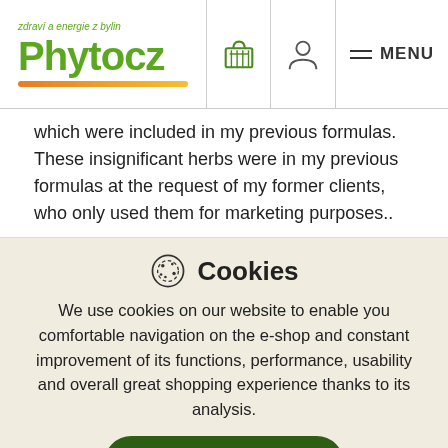Phyto.cz — zdraví a energie z bylin — MENU
which were included in my previous formulas. These insignificant herbs were in my previous formulas at the request of my former clients, who only used them for marketing purposes..
Cookies
We use cookies on our website to enable you comfortable navigation on the e-shop and constant improvement of its functions, performance, usability and overall great shopping experience thanks to its analysis.
I agree
I do not agree